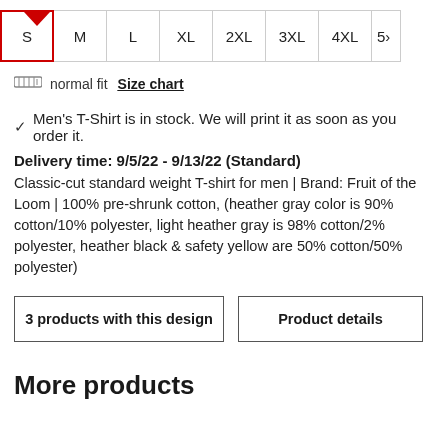[Figure (other): Size selector row with sizes S (selected, highlighted with red arrow), M, L, XL, 2XL, 3XL, 4XL, 5X (partially visible)]
normal fit   Size chart
✓ Men's T-Shirt is in stock. We will print it as soon as you order it.
Delivery time: 9/5/22 - 9/13/22 (Standard)
Classic-cut standard weight T-shirt for men | Brand: Fruit of the Loom | 100% pre-shrunk cotton, (heather gray color is 90% cotton/10% polyester, light heather gray is 98% cotton/2% polyester, heather black & safety yellow are 50% cotton/50% polyester)
3 products with this design
Product details
More products